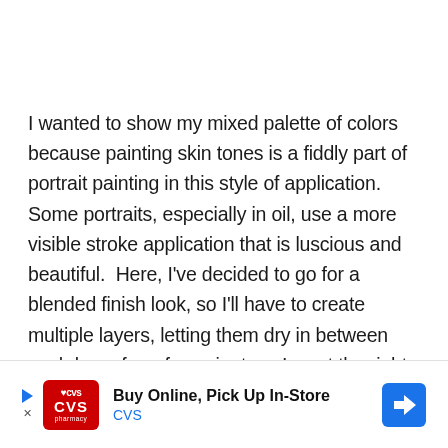I wanted to show my mixed palette of colors because painting skin tones is a fiddly part of portrait painting in this style of application. Some portraits, especially in oil, use a more visible stroke application that is luscious and beautiful.  Here, I've decided to go for a blended finish look, so I'll have to create multiple layers, letting them dry in between each layer for a few minutes.  I want the right side of her face (which is the warm light source side) to be yellow tone flesh
[Figure (other): CVS pharmacy advertisement banner: Buy Online, Pick Up In-Store — CVS]